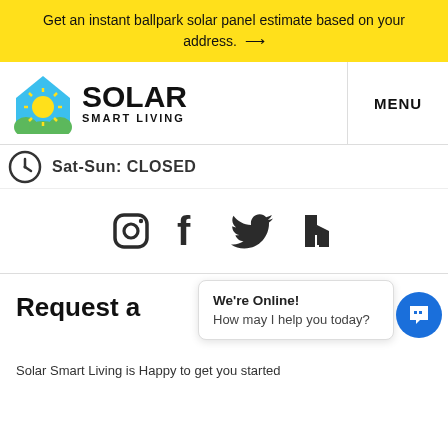Get an instant ballpark solar panel estimate based on your address. →
[Figure (logo): Solar Smart Living logo with house icon and sun]
MENU
Sat-Sun: CLOSED
[Figure (illustration): Social media icons: Instagram, Facebook, Twitter, Houzz]
Request a
We're Online!
How may I help you today?
Solar Smart Living is Happy to get you started